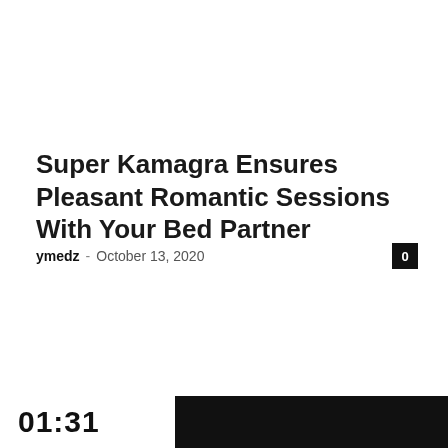Super Kamagra Ensures Pleasant Romantic Sessions With Your Bed Partner
ymedz – October 13, 2020
0
01:31